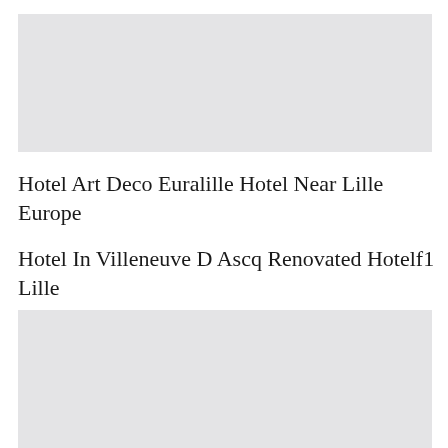[Figure (photo): Gray placeholder image block at top of page]
Hotel Art Deco Euralille Hotel Near Lille Europe
Hotel In Villeneuve D Ascq Renovated Hotelf1 Lille
[Figure (photo): Gray placeholder image block at bottom of page]